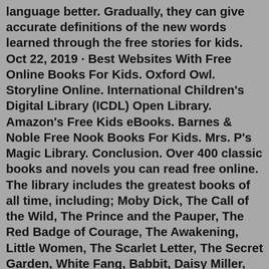language better. Gradually, they can give accurate definitions of the new words learned through the free stories for kids. Oct 22, 2019 · Best Websites With Free Online Books For Kids. Oxford Owl. Storyline Online. International Children's Digital Library (ICDL) Open Library. Amazon's Free Kids eBooks. Barnes & Noble Free Nook Books For Kids. Mrs. P's Magic Library. Conclusion. Over 400 classic books and novels you can read free online. The library includes the greatest books of all time, including; Moby Dick, The Call of the Wild, The Prince and the Pauper, The Red Badge of Courage, The Awakening, Little Women, The Scarlet Letter, The Secret Garden, White Fang, Babbit, Daisy Miller, David Copperfield, Oliver Twist and hundreds of other classic novels. Illustrated children's stories for kids between the ages of 5 and 8 that deal with more complex story and plot, including interactive stories that deal with deductive reasoning skills. ... "Who Let You In My Book" and "Don't Judge a Book" are interactive in nature. "Gnarble's World" (a rich web of content with twelve